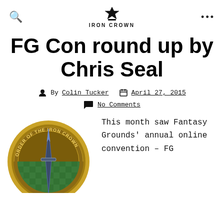IRON CROWN
FG Con round up by Chris Seal
By Colin Tucker  April 27, 2015
No Comments
[Figure (logo): Order of the Iron Crown circular badge/seal logo with crown and sword]
This month saw Fantasy Grounds' annual online convention – FG